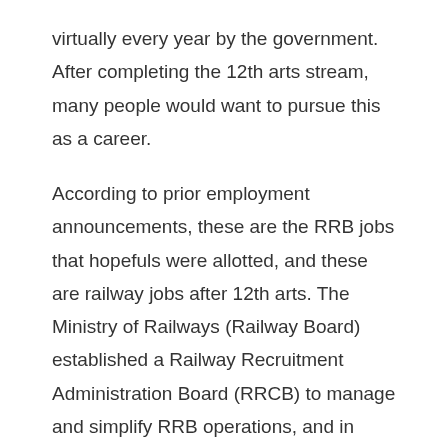virtually every year by the government. After completing the 12th arts stream, many people would want to pursue this as a career.
According to prior employment announcements, these are the RRB jobs that hopefuls were allotted, and these are railway jobs after 12th arts. The Ministry of Railways (Railway Board) established a Railway Recruitment Administration Board (RRCB) to manage and simplify RRB operations, and in 1998, all RRBs were placed under the Ministry's absolute authority. Currently, there are 21 Railway Recruitment Boards in India, each helping to support a particular state.